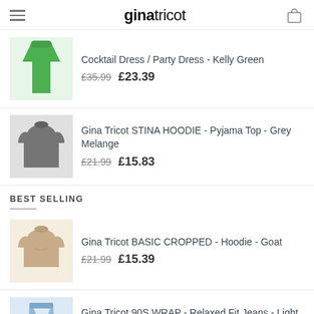ginatricot
Cocktail Dress / Party Dress - Kelly Green £35.99 £23.39
Gina Tricot STINA HOODIE - Pyjama Top - Grey Melange £21.99 £15.83
BEST SELLING
Gina Tricot BASIC CROPPED - Hoodie - Goat £21.99 £15.39
Gina Tricot 90S WRAP - Relaxed Fit Jeans - Light Blue £54.99 £35.74